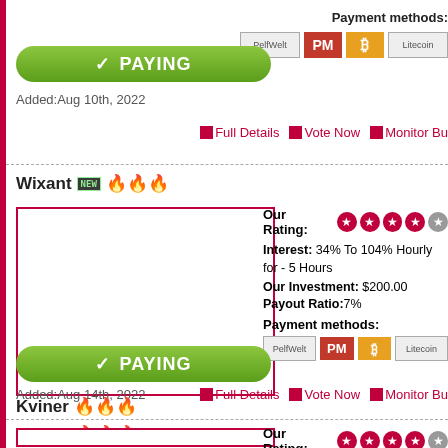Payment methods:
[Figure (infographic): Payment method icons: PerfWelt, PM (red), Bitcoin (orange), Litecoin]
[Figure (infographic): Green PAYING button with checkmark]
Added:Aug 10th, 2022
Full Details  Vote Now  Monitor Bu
Wixant NEW 🔥🔥🔥
[Figure (infographic): Wixant site logo placeholder with red border]
Our Rating: ★★★★☆
Interest: 34% To 104% Hourly for - 5 Hours
Our Investment: $200.00
Payout Ratio:7%
Payment methods:
[Figure (infographic): Payment method icons: PerfWelt, PM (red), Bitcoin (orange), Litecoin]
[Figure (infographic): Green PAYING button with checkmark]
Added:Aug 14th, 2022
Full Details  Vote Now  Monitor Bu
Kviner 🔥🔥🔥
[Figure (infographic): Kviner site logo placeholder with red border]
Our Rating: ★★★★☆
Interest: 245% AFTER 20 MINUTES, 295% AFTER 40 MINUTES, 435% AFTER 50 MINUTES, 625% AFTER 60 MINUTES, 835% AFTER 80 MINUTES, 1025% AFTER 1 MINUTES
Our Investment: $200.00
Payout Ratio:6%
[Figure (infographic): Green PAYING button with checkmark (partial)]